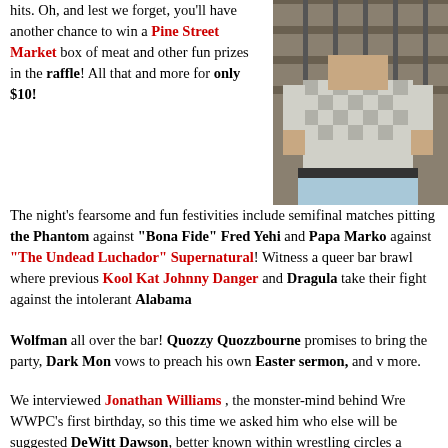hits. Oh, and lest we forget, you'll have another chance to win a Pine Street Market box of meat and other fun prizes in the raffle! All that and more for only $10!
[Figure (photo): Photo of a person in a checkered shirt and light blue shorts/pants, standing near a railing or bleachers.]
The night's fearsome and fun festivities include semifinal matches pitting the Phantom against "Bona Fide" Fred Yehi and Papa Marko against "The Undead Luchador" Supernatural! Witness a queer bar brawl where previous Kool Kat Johnny Danger and Dragula take their fight against the intolerant Alabama Wolfman all over the bar! Quozzy Quozzbourne promises to bring the party, Dark Mon vows to preach his own Easter sermon, and more.
We interviewed Jonathan Williams, the monster-mind behind Wre... WWPC's first birthday, so this time we asked him who else will be... suggested DeWitt Dawson, better known within wrestling circles a... managing Fred Yehi in the MCW tournament and also manages so... talents from Universal Independent Wrestling in Villa Rica, NW... After all, as Jonathan notes, "managers are kind of a lost art in wres... DeWitt not just to go behind the scenes for a preview of this Friday'... to be a wrestling manager, what he loves about the sport and how h...